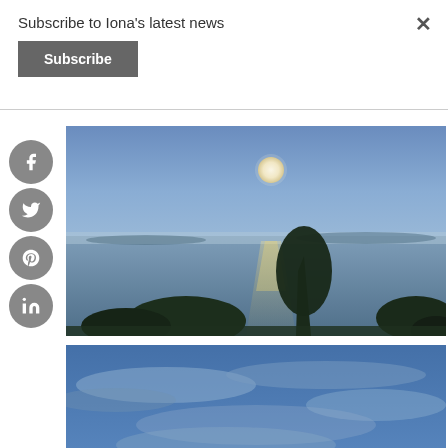Subscribe to Iona's latest news
Subscribe
[Figure (photo): Nighttime photo of a full moon reflecting over a calm sea with trees and shoreline in the foreground. Blue-toned dusk scene.]
[Figure (photo): Nighttime or dusk photo of sky with clouds and a glowing moon visible near the horizon, blue-toned.]